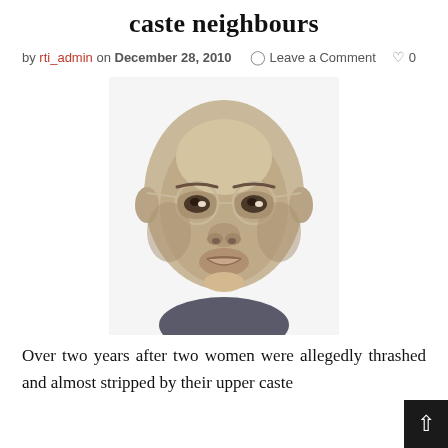caste neighbours
by rti_admin on December 28, 2010  Leave a Comment  0
[Figure (illustration): A stylized vector illustration portrait of a bald man wearing round glasses, rendered in beige and brown tones, resembling B.R. Ambedkar.]
Over two years after two women were allegedly thrashed and almost stripped by their upper caste